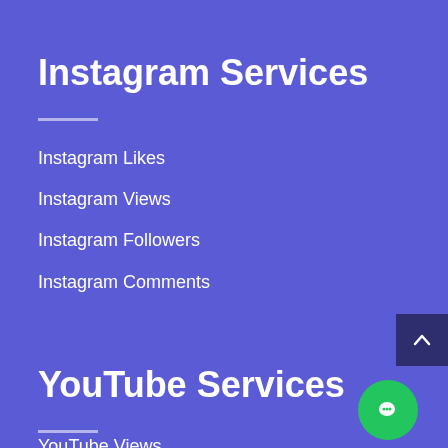Instagram Services
Instagram Likes
Instagram Views
Instagram Followers
Instagram Comments
YouTube Services
YouTube Views